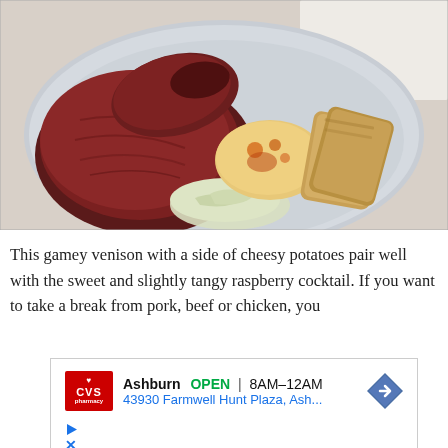[Figure (photo): A plate with sliced medium-rare venison on the left, cheesy potatoes in the center, and toasted bread slices on the right, served in a white bowl on a white tablecloth.]
This gamey venison with a side of cheesy potatoes pair well with the sweet and slightly tangy raspberry cocktail. If you want to take a break from pork, beef or chicken, you
[Figure (infographic): Advertisement box showing CVS pharmacy logo, 'Ashburn OPEN 8AM-12AM', '43930 Farmwell Hunt Plaza, Ash...', a blue navigation arrow icon, and ad close icons.]